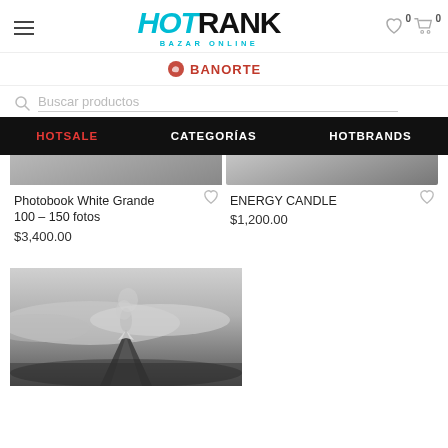[Figure (logo): HotRank Bazar Online logo with teal HOT and black RANK text]
[Figure (logo): Banorte bank logo with red icon and text]
Buscar productos
HOTSALE   CATEGORÍAS   HOTBRANDS
Photobook White Grande 100 – 150 fotos
$3,400.00
ENERGY CANDLE
$1,200.00
[Figure (photo): Black and white aerial photo of a volcano with smoke and clouds]